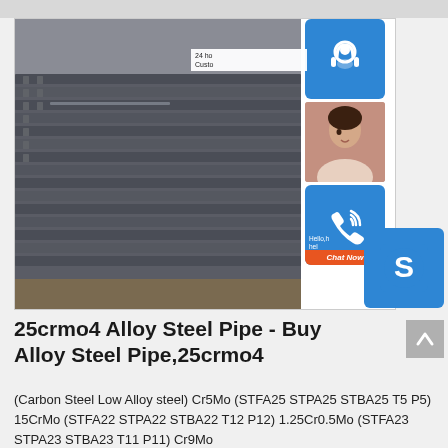[Figure (photo): Stack of alloy steel pipes (25crmo4) stored in a warehouse, viewed from the end showing horizontal layered arrangement. Gray/dark blue steel color.]
25crmo4 Alloy Steel Pipe - Buy Alloy Steel Pipe,25crmo4
(Carbon Steel Low Alloy steel) Cr5Mo (STFA25 STPA25 STBA25 T5 P5) 15CrMo (STFA22 STPA22 STBA22 T12 P12) 1.25Cr0.5Mo (STFA23 STPA23 STBA23 T11 P11) Cr9Mo